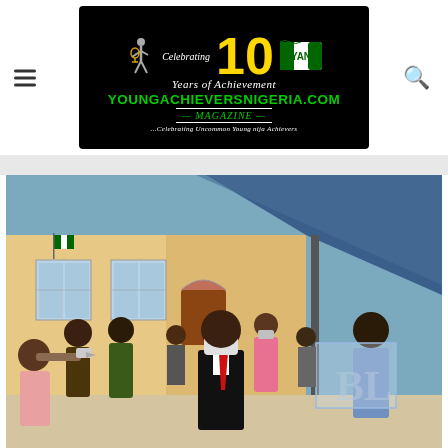[Figure (logo): YoungAchieversNigeria.com Magazine logo on black background, celebrating 10 Years of Achievement, 2009-2019]
[Figure (photo): Outdoor scene showing people getting temperature checked at an event, man in black suit and red tie wearing face mask being screened with thermometer gun under a blue tent canopy, building with Nigerian flag visible in background]